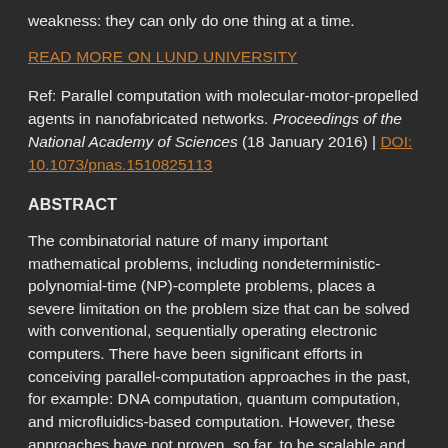weakness: they can only do one thing at a time.
READ MORE ON LUND UNIVERSITY
Ref: Parallel computation with molecular-motor-propelled agents in nanofabricated networks. Proceedings of the National Academy of Sciences (18 January 2016) | DOI: 10.1073/pnas.1510825113
ABSTRACT
The combinatorial nature of many important mathematical problems, including nondeterministic-polynomial-time (NP)-complete problems, places a severe limitation on the problem size that can be solved with conventional, sequentially operating electronic computers. There have been significant efforts in conceiving parallel-computation approaches in the past, for example: DNA computation, quantum computation, and microfluidics-based computation. However, these approaches have not proven, so far, to be scalable and practical from a fabrication and operational perspective